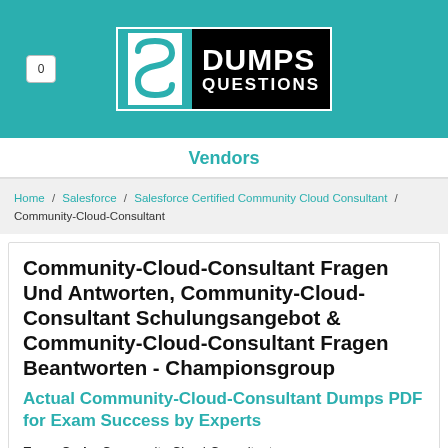0 | DUMPS QUESTIONS
Vendors
Home / Salesforce / Salesforce Certified Community Cloud Consultant / Community-Cloud-Consultant
Community-Cloud-Consultant Fragen Und Antworten, Community-Cloud-Consultant Schulungsangebot & Community-Cloud-Consultant Fragen Beantworten - Championsgroup
Actual Community-Cloud-Consultant Dumps PDF for Exam Success by Experts
Exam Code: Community-Cloud-Consultant
Exam Name: Salesforce Certified Community Cloud Consultant
Certification Provider: Salesforce
Related Certification: Salesforce Certified Community Cloud